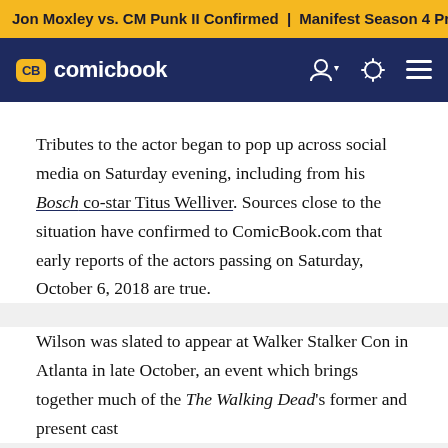Jon Moxley vs. CM Punk II Confirmed | Manifest Season 4 Pr
[Figure (logo): ComicBook.com logo with CB badge in yellow on dark navy navigation bar]
Tributes to the actor began to pop up across social media on Saturday evening, including from his Bosch co-star Titus Welliver. Sources close to the situation have confirmed to ComicBook.com that early reports of the actors passing on Saturday, October 6, 2018 are true.
Wilson was slated to appear at Walker Stalker Con in Atlanta in late October, an event which brings together much of the The Walking Dead's former and present cast